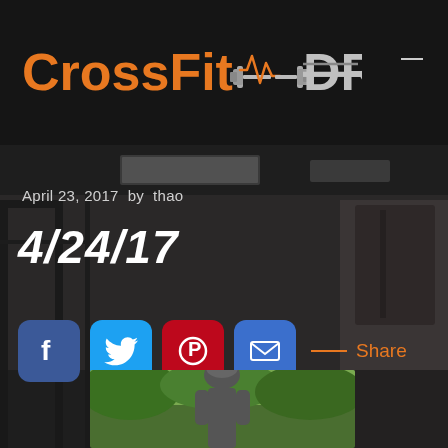[Figure (logo): CrossFit DR logo with orange CrossFit text and grey DR text with strikethrough and dumbbell graphic]
[Figure (photo): Dark gym interior with pull-up rigs, wooden walls, industrial ceiling with lighting]
April 23, 2017  by  thao
4/24/17
[Figure (infographic): Social share buttons: Facebook (blue), Twitter (light blue), Pinterest (red), Email (blue), with orange Share label]
[Figure (photo): Partial photo at bottom showing person outdoors wearing helmet]